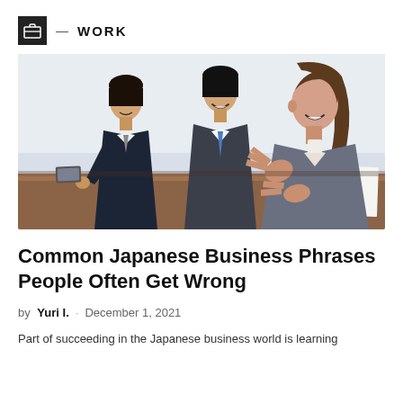WORK
[Figure (photo): Three Japanese business professionals in suits sitting at a conference table. A woman in the foreground is gesturing with her hands while speaking, and two men behind her are smiling and holding documents.]
Common Japanese Business Phrases People Often Get Wrong
by Yuri I. · December 1, 2021
Part of succeeding in the Japanese business world is learning